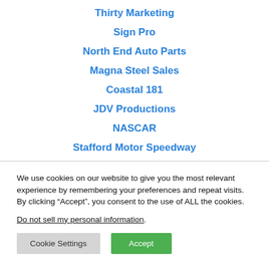Thirty Marketing
Sign Pro
North End Auto Parts
Magna Steel Sales
Coastal 181
JDV Productions
NASCAR
Stafford Motor Speedway
We use cookies on our website to give you the most relevant experience by remembering your preferences and repeat visits. By clicking “Accept”, you consent to the use of ALL the cookies.
Do not sell my personal information.